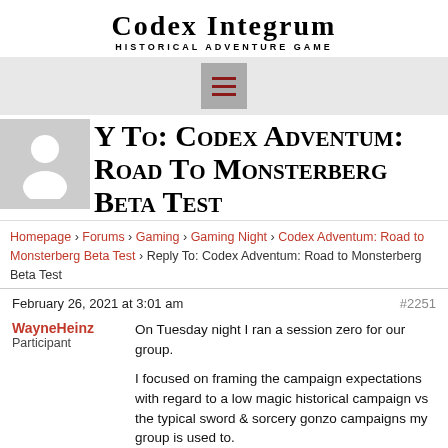Codex Integrum
Historical Adventure Game
[Figure (other): Navigation hamburger menu button with three red lines on gray background]
Reply To: Codex Adventum: Road To Monsterberg Beta Test
Homepage › Forums › Gaming › Gaming Night › Codex Adventum: Road to Monsterberg Beta Test › Reply To: Codex Adventum: Road to Monsterberg Beta Test
February 26, 2021 at 3:01 am
#2251
WayneHeinz
Participant
On Tuesday night I ran a session zero for our group.

I focused on framing the campaign expectations with regard to a low magic historical campaign vs the typical sword & sorcery gonzo campaigns my group is used to.